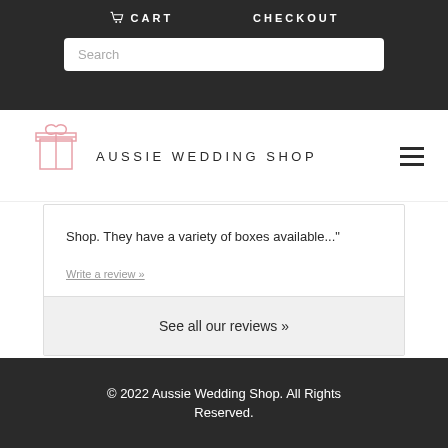CART  CHECKOUT
Search
[Figure (logo): Aussie Wedding Shop logo with pink gift box outline and text 'AUSSIE WEDDING SHOP']
Shop. They have a variety of boxes available..."
Write a review »
See all our reviews »
© 2022 Aussie Wedding Shop. All Rights Reserved.